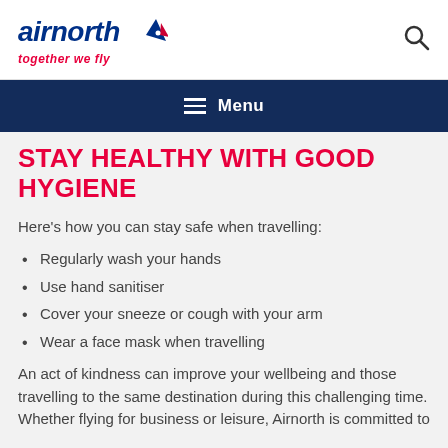[Figure (logo): Airnorth airline logo with airplane tail icon and tagline 'together we fly' in red italic text]
Menu
STAY HEALTHY WITH GOOD HYGIENE
Here's how you can stay safe when travelling:
Regularly wash your hands
Use hand sanitiser
Cover your sneeze or cough with your arm
Wear a face mask when travelling
An act of kindness can improve your wellbeing and those travelling to the same destination during this challenging time. Whether flying for business or leisure, Airnorth is committed to